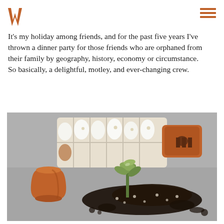WW [logo] / hamburger menu
It's my holiday among friends, and for the past five years I've thrown a dinner party for those friends who are orphaned from their family by geography, history, economy or circumstance.
So basically, a delightful, motley, and ever-changing crew.
[Figure (photo): Photo of egg shells in a carton, a small terracotta pot, a green succulent plant, and spilled dark soil on a grey surface, with an orange terra cotta pot tipped on its side in the background.]